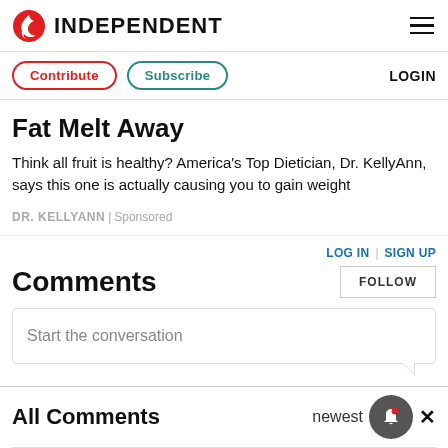INDEPENDENT
Fat Melt Away
Think all fruit is healthy? America's Top Dietician, Dr. KellyAnn, says this one is actually causing you to gain weight
DR. KELLYANN | Sponsored
Comments
Start the conversation
All Comments
newest